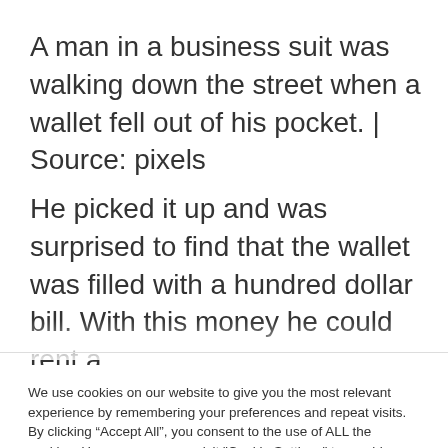A man in a business suit was walking down the street when a wallet fell out of his pocket. | Source: pixels
He picked it up and was surprised to find that the wallet was filled with a hundred dollar bill. With this money he could rent a
We use cookies on our website to give you the most relevant experience by remembering your preferences and repeat visits. By clicking “Accept All”, you consent to the use of ALL the cookies. However, you may visit "Cookie Settings" to provide a controlled consent.
Cookie Settings
Accept All